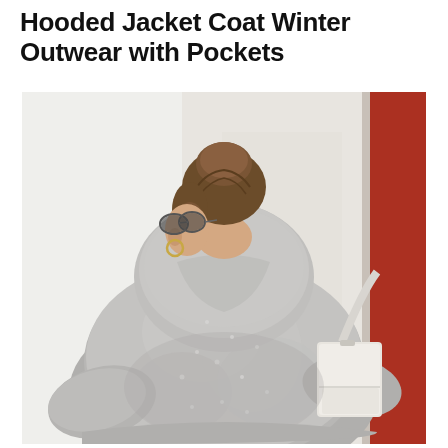Hooded Jacket Coat Winter Outwear with Pockets
[Figure (photo): A woman viewed from behind wearing a large grey fluffy/bouclé hooded jacket coat. She has her hair up in a bun, is wearing round sunglasses and a gold hoop earring, and carries a white structured handbag over her shoulder. She is standing against a white wall with a narrow red door/panel visible on the right edge. The photo is taken outdoors.]